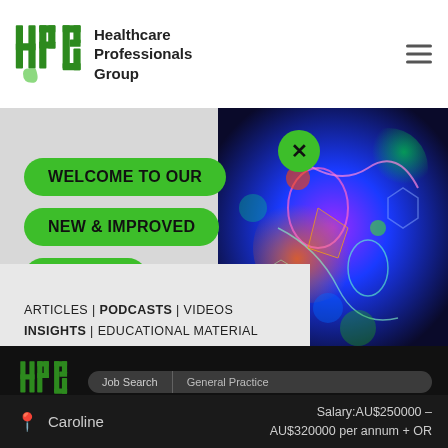Healthcare Professionals Group
[Figure (screenshot): HPG website popup banner with green pills reading WELCOME TO OUR NEW & IMPROVED WEBSITE on gray background with colorful microscopy image on right]
[Figure (logo): HPG logo in dark section with search bar overlay showing Job Search and General Practice]
ARTICLES | PODCASTS | VIDEOS
INSIGHTS | EDUCATIONAL MATERIAL
LATEST JOB OPPORTUNITIES
Salary:AU$250000 – AU$320000 per annum + OR
Caroline